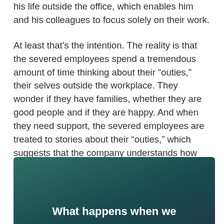his life outside the office, which enables him and his colleagues to focus solely on their work.
At least that's the intention. The reality is that the severed employees spend a tremendous amount of time thinking about their “outies,” their selves outside the workplace. They wonder if they have families, whether they are good people and if they are happy. And when they need support, the severed employees are treated to stories about their “outies,” which suggests that the company understands how important it is for the workers to understand all aspects of their lives.
[Figure (other): Dark teal/green gradient box with bold white text reading 'What happens when we' at the bottom]